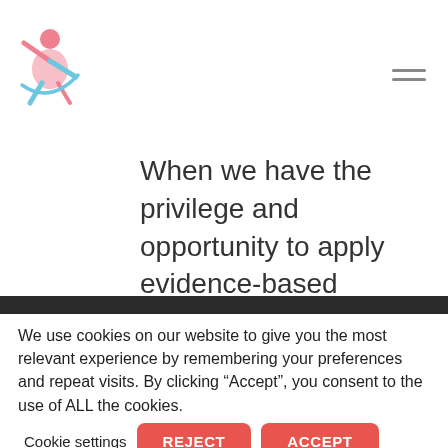[Figure (logo): Medical/healthcare organization logo — stylized figure with raised arm, pink and light blue colors]
When we have the privilege and opportunity to apply evidence-based medicine, we must apply it.
We use cookies on our website to give you the most relevant experience by remembering your preferences and repeat visits. By clicking “Accept”, you consent to the use of ALL the cookies.